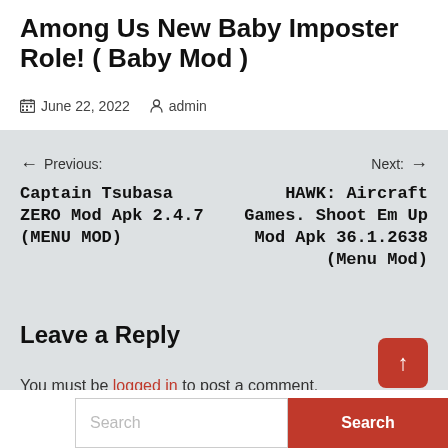Among Us New Baby Imposter Role! ( Baby Mod )
June 22, 2022   admin
← Previous: Captain Tsubasa ZERO Mod Apk 2.4.7 (MENU MOD)
Next: → HAWK: Aircraft Games. Shoot Em Up Mod Apk 36.1.2638 (Menu Mod)
Leave a Reply
You must be logged in to post a comment.
Search   Search